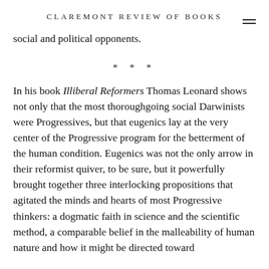CLAREMONT REVIEW OF BOOKS
social and political opponents.
* * *
In his book Illiberal Reformers Thomas Leonard shows not only that the most thoroughgoing social Darwinists were Progressives, but that eugenics lay at the very center of the Progressive program for the betterment of the human condition. Eugenics was not the only arrow in their reformist quiver, to be sure, but it powerfully brought together three interlocking propositions that agitated the minds and hearts of most Progressive thinkers: a dogmatic faith in science and the scientific method, a comparable belief in the malleability of human nature and how it might be directed toward